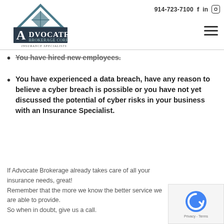Advocate Brokerage Corp — Insurance Specialists | 914-723-7100
You have hired new employees.
You have experienced a data breach, have any reason to believe a cyber breach is possible or you have not yet discussed the potential of cyber risks in your business with an Insurance Specialist.
If Advocate Brokerage already takes care of all your insurance needs, great!
Remember that the more we know the better service we are able to provide.
So when in doubt, give us a call.